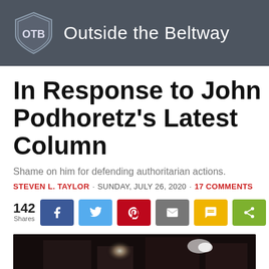Outside the Beltway
In Response to John Podhoretz’s Latest Column
Shame on him for defending authoritarian actions.
STEVEN L. TAYLOR · SUNDAY, JULY 26, 2020 · 17 COMMENTS
142 Shares
[Figure (photo): Dark crowd scene photograph at bottom of article page]